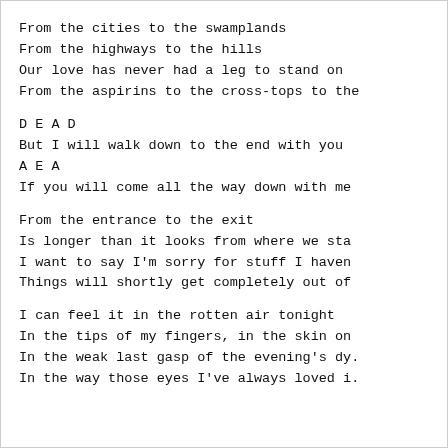From the cities to the swamplands
From the highways to the hills
Our love has never had a leg to stand on
From the aspirins to the cross-tops to the
D E A D
But I will walk down to the end with you
A E A
If you will come all the way down with me
From the entrance to the exit
Is longer than it looks from where we sta
I want to say I'm sorry for stuff I haven
Things will shortly get completely out of
I can feel it in the rotten air tonight
In the tips of my fingers, in the skin on
In the weak last gasp of the evening's dy.
In the way those eyes I've always loved i.